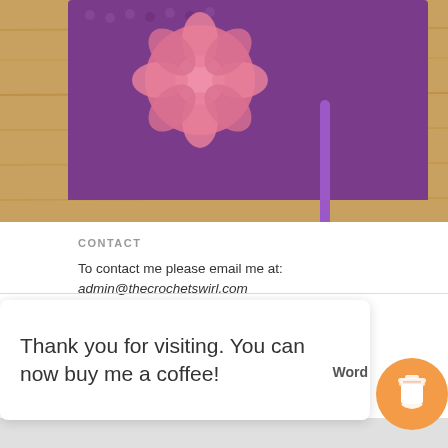[Figure (photo): Partial view of a purple crocheted granny square with pink flower detail on a wooden surface, with a purple crochet hook visible]
CONTACT
To contact me please email me at: admin@thecrochetswirl.com
[Figure (other): Orange rounded rectangle button with coffee cup icon and text 'Buy Me a Coffee']
Thank you for visiting. You can now buy me a coffee!